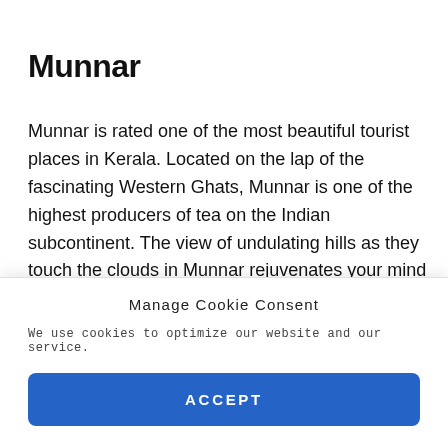Munnar
Munnar is rated one of the most beautiful tourist places in Kerala. Located on the lap of the fascinating Western Ghats, Munnar is one of the highest producers of tea on the Indian subcontinent. The view of undulating hills as they touch the clouds in Munnar rejuvenates your mind and soul. Rising 1.6km above the sea level, a
Manage Cookie Consent
We use cookies to optimize our website and our service.
ACCEPT